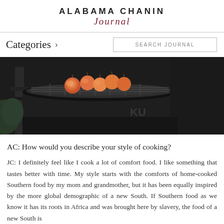ALABAMA CHANIN Journal
Categories >
SEARCH JOURNAL
[Figure (photo): Close-up photo of peaches on a round black grill/kamado cooker, dark moody background]
AC: How would you describe your style of cooking?
JC: I definitely feel like I cook a lot of comfort food. I like something that tastes better with time. My style starts with the comforts of home-cooked Southern food by my mom and grandmother, but it has been equally inspired by the more global demographic of a new South. If Southern food as we know it has its roots in Africa and was brought here by slavery, the food of a new South is